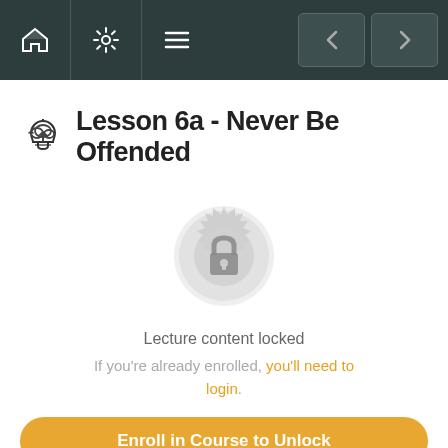Navigation bar with home, settings, menu icons and back/forward buttons
Lesson 6a - Never Be Offended
[Figure (illustration): A circular ornate badge/seal icon in light gray with a padlock symbol in the center, indicating locked content]
Lecture content locked
If you're already enrolled, you'll need to login.
Enroll in Course to Unlock